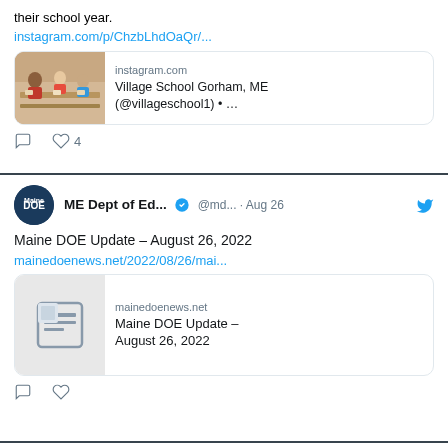their school year.
instagram.com/p/ChzbLhdOaQr/...
[Figure (screenshot): Instagram preview card showing Village School Gorham ME photo with people at tables]
4
ME Dept of Ed... @md... · Aug 26
Maine DOE Update – August 26, 2022
mainedoenews.net/2022/08/26/mai...
[Figure (screenshot): News article preview card for Maine DOE Update August 26 2022 from mainedoenews.net]
[Figure (screenshot): More on Twitter blue button at bottom]